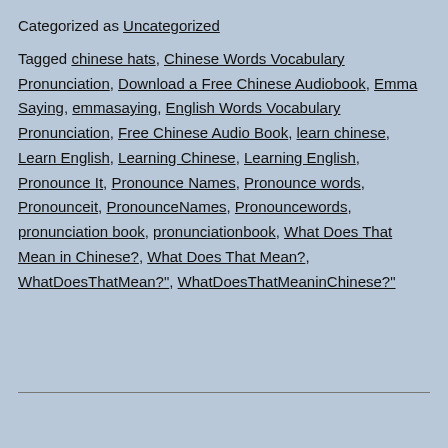Categorized as Uncategorized
Tagged chinese hats, Chinese Words Vocabulary Pronunciation, Download a Free Chinese Audiobook, Emma Saying, emmasaying, English Words Vocabulary Pronunciation, Free Chinese Audio Book, learn chinese, Learn English, Learning Chinese, Learning English, Pronounce It, Pronounce Names, Pronounce words, Pronounceit, PronounceNames, Pronouncewords, pronunciation book, pronunciationbook, What Does That Mean in Chinese?, What Does That Mean?, WhatDoesThatMean?", WhatDoesThatMeaninChinese?"